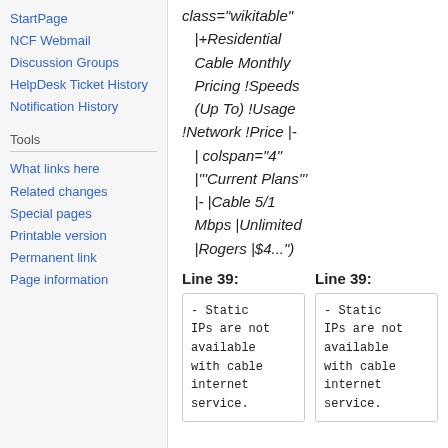StartPage
NCF Webmail
Discussion Groups
HelpDesk Ticket History
Notification History
Tools
What links here
Related changes
Special pages
Printable version
Permanent link
Page information
class="wikitable" |+Residential Cable Monthly Pricing !Speeds (Up To) !Usage !Network !Price |- | colspan="4" |'''Current Plans''' |- |Cable 5/1 Mbps |Unlimited |Rogers |$4...")
Line 39:
Line 39:
- Static IPs are not available with cable internet service.
- Static IPs are not available with cable internet service.